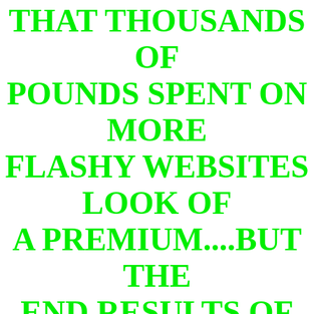THAT THOUSANDS OF POUNDS SPENT ON MORE FLASHY WEBSITES LOOK OF A PREMIUM....BUT THE END RESULTS OF HIGH MARKETING COSTS WOULD ONLY RESULT IN A MORE EXPENSIVE END COST TO OUR CUSTOMERS. RE-GLAZE-IT DERBY IS A LOW COST GLASS DOUBLE GLAZED UNIT